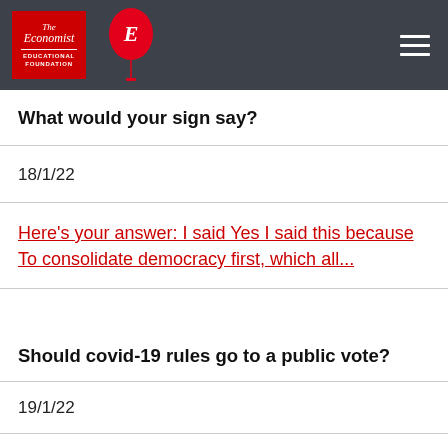The Economist Educational Foundation
What would your sign say?
18/1/22
Here's your answer: I said Yes I said this because To consolidate democracy first, which all...
Should covid-19 rules go to a public vote?
19/1/22
The idea I have chosen is Giving teachers free lesson plans, one day a month for planning and a...